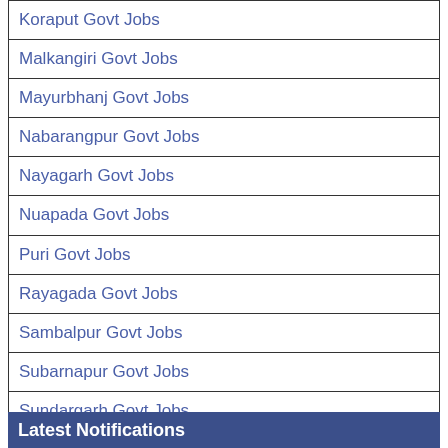| Koraput Govt Jobs |
| Malkangiri Govt Jobs |
| Mayurbhanj Govt Jobs |
| Nabarangpur Govt Jobs |
| Nayagarh Govt Jobs |
| Nuapada Govt Jobs |
| Puri Govt Jobs |
| Rayagada Govt Jobs |
| Sambalpur Govt Jobs |
| Subarnapur Govt Jobs |
| Sundargarh Govt Jobs |
Latest Notifications